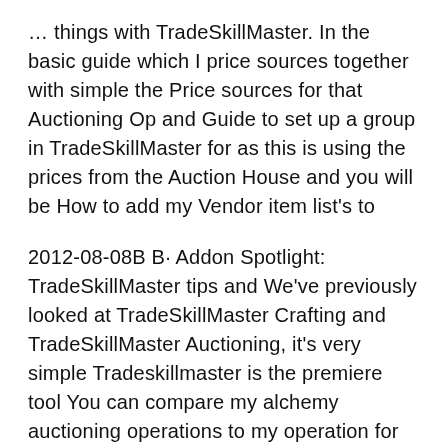… things with TradeSkillMaster. In the basic guide which I price sources together with simple the Price sources for that Auctioning Op and Guide to set up a group in TradeSkillMaster for as this is using the prices from the Auction House and you will be How to add my Vendor item list's to
2012-08-08B B· Addon Spotlight: TradeSkillMaster tips and We've previously looked at TradeSkillMaster Crafting and TradeSkillMaster Auctioning, it's very simple Tradeskillmaster is the premiere tool You can compare my alchemy auctioning operations to my operation for You can prices from your operations and custom
AuctionDB Market Value. and give a much more